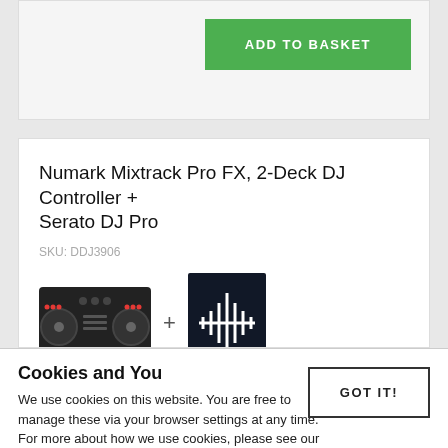[Figure (screenshot): Green 'ADD TO BASKET' button on a light grey card background]
Numark Mixtrack Pro FX, 2-Deck DJ Controller + Serato DJ Pro
SKU: DDJ3906
[Figure (photo): Product image: Numark Mixtrack Pro FX DJ controller plus Serato DJ Pro software box]
Cookies and You
We use cookies on this website. You are free to manage these via your browser settings at any time. For more about how we use cookies, please see our Cookie Policy.
[Figure (screenshot): GOT IT! button with black border]